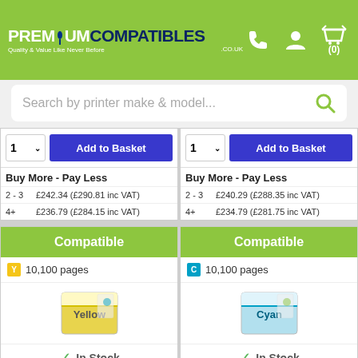[Figure (screenshot): Premium Compatibles website header with green background, logo, phone icon, user icon, and basket icon showing (0)]
Search by printer make & model...
Add to Basket (quantity 1, left column)
Add to Basket (quantity 1, right column)
Buy More - Pay Less
2 - 3   £242.34 (£290.81 inc VAT)
4+   £236.79 (£284.15 inc VAT)
Buy More - Pay Less
2 - 3   £240.29 (£288.35 inc VAT)
4+   £234.79 (£281.75 inc VAT)
Compatible
Y 10,100 pages
[Figure (photo): Yellow toner cartridge box product image]
✓ In Stock
Compatible Xerox 106R03758 Yellow High Capacity Toner Cartridge (106R03758)
Compatible
C 10,100 pages
[Figure (photo): Cyan toner cartridge box product image]
✓ In Stock
Compatible Xerox 106R03760 Cyan High Capacity Toner Cartridge (106R03760)